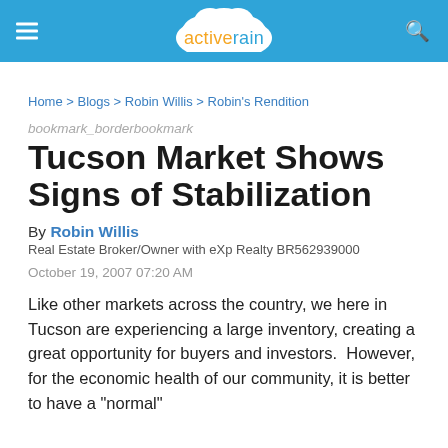activerain
Home > Blogs > Robin Willis > Robin's Rendition
bookmark_borderbookmark
Tucson Market Shows Signs of Stabilization
By Robin Willis
Real Estate Broker/Owner with eXp Realty BR562939000
October 19, 2007 07:20 AM
Like other markets across the country, we here in Tucson are experiencing a large inventory, creating a great opportunity for buyers and investors.  However, for the economic health of our community, it is better to have a "normal"